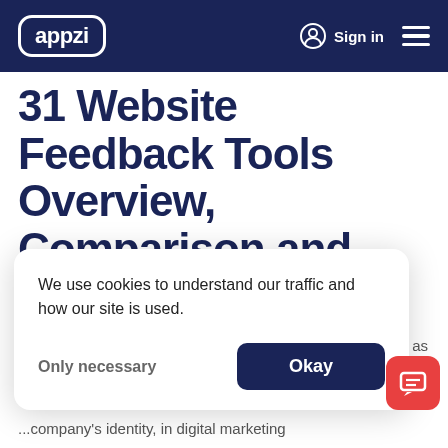appzi | Sign in
31 Website Feedback Tools Overview, Comparison and Best Practices
Anna
We use cookies to understand our traffic and how our site is used.
Only necessary  Okay
...oularity as ...es th... ...company's identity, in digital marketing